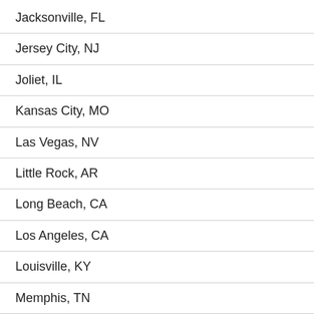Jacksonville, FL
Jersey City, NJ
Joliet, IL
Kansas City, MO
Las Vegas, NV
Little Rock, AR
Long Beach, CA
Los Angeles, CA
Louisville, KY
Memphis, TN